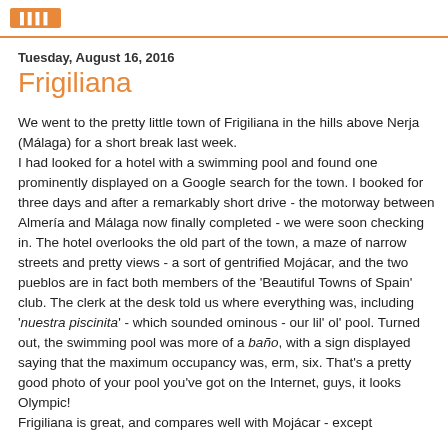Tuesday, August 16, 2016
Frigiliana
We went to the pretty little town of Frigiliana in the hills above Nerja (Málaga) for a short break last week.
I had looked for a hotel with a swimming pool and found one prominently displayed on a Google search for the town. I booked for three days and after a remarkably short drive - the motorway between Almería and Málaga now finally completed - we were soon checking in. The hotel overlooks the old part of the town, a maze of narrow streets and pretty views - a sort of gentrified Mojácar, and the two pueblos are in fact both members of the 'Beautiful Towns of Spain' club. The clerk at the desk told us where everything was, including 'nuestra piscinita' - which sounded ominous - our lil' ol' pool. Turned out, the swimming pool was more of a baño, with a sign displayed saying that the maximum occupancy was, erm, six. That's a pretty good photo of your pool you've got on the Internet, guys, it looks Olympic!
Frigiliana is great, and compares well with Mojácar - except